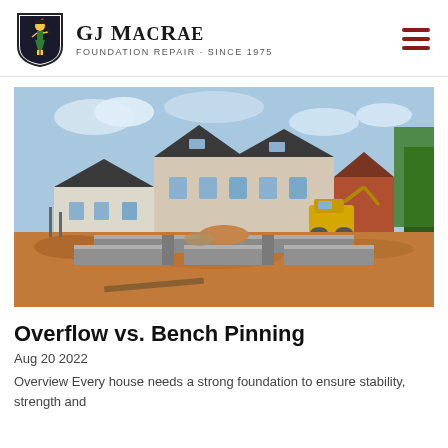GJ MacRae — Foundation Repair · Since 1975
[Figure (photo): Construction site showing partially built concrete foundation walls with a yellow excavator in the background and two-storey residential houses behind it under a blue sky.]
Overflow vs. Bench Pinning
Aug 20 2022
Overview Every house needs a strong foundation to ensure stability, strength and